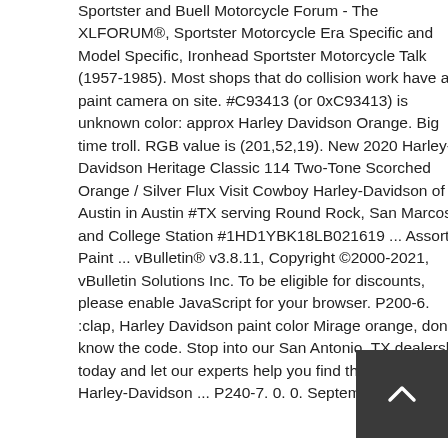Sportster and Buell Motorcycle Forum - The XLFORUM®, Sportster Motorcycle Era Specific and Model Specific, Ironhead Sportster Motorcycle Talk (1957-1985). Most shops that do collision work have a paint camera on site. #C93413 (or 0xC93413) is unknown color: approx Harley Davidson Orange. Big time troll. RGB value is (201,52,19). New 2020 Harley-Davidson Heritage Classic 114 Two-Tone Scorched Orange / Silver Flux Visit Cowboy Harley-Davidson of Austin in Austin #TX serving Round Rock, San Marcos and College Station #1HD1YBK18LB021619 ... Assorted Paint ... vBulletin® v3.8.11, Copyright ©2000-2021, vBulletin Solutions Inc. To be eligible for discounts, please enable JavaScript for your browser. P200-6. :clap, Harley Davidson paint color Mirage orange, don't know the code. Stop into our San Antonio, TX dealership today and let our experts help you find the perfect Harley-Davidson ... P240-7. 0. 0. September 8,
[Figure (other): Dark gray scroll-to-top button with a white upward-pointing chevron arrow]